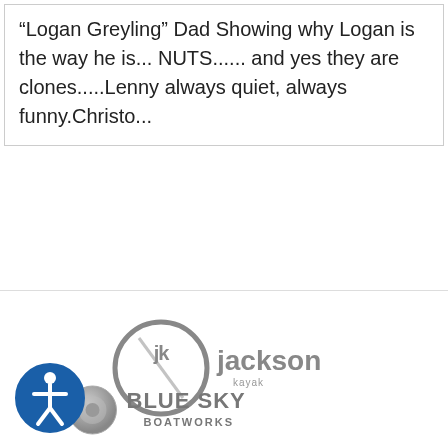“Logan Greyling” Dad Showing why Logan is the way he is... NUTS...... and yes they are clones.....Lenny always quiet, always funny.Christo...
[Figure (logo): Jackson Kayak logo in grey tones]
[Figure (logo): Blue Sky Boatworks logo in grey tones]
[Figure (illustration): Accessibility icon - circular blue badge with person figure]